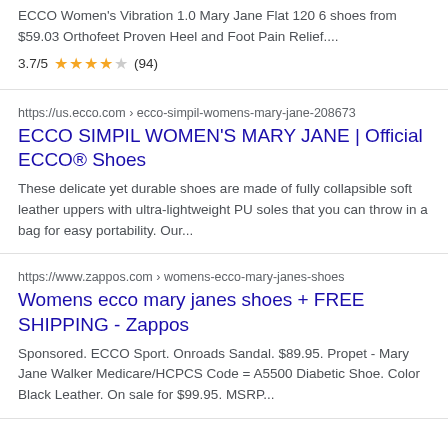ECCO Women's Vibration 1.0 Mary Jane Flat 120 6 shoes from $59.03 Orthofeet Proven Heel and Foot Pain Relief....
3.7/5 ★★★½☆ (94)
https://us.ecco.com › ecco-simpil-womens-mary-jane-208673
ECCO SIMPIL WOMEN'S MARY JANE | Official ECCO® Shoes
These delicate yet durable shoes are made of fully collapsible soft leather uppers with ultra-lightweight PU soles that you can throw in a bag for easy portability. Our...
https://www.zappos.com › womens-ecco-mary-janes-shoes
Womens ecco mary janes shoes + FREE SHIPPING - Zappos
Sponsored. ECCO Sport. Onroads Sandal. $89.95. Propet - Mary Jane Walker Medicare/HCPCS Code = A5500 Diabetic Shoe. Color Black Leather. On sale for $99.95. MSRP...